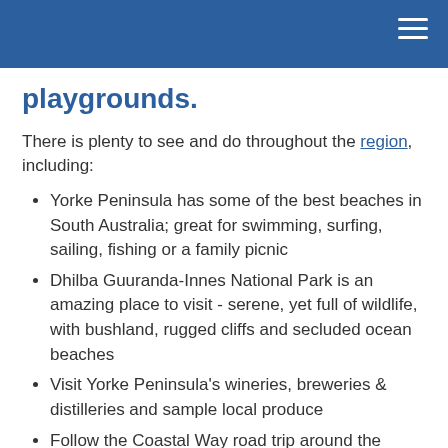playgrounds.
There is plenty to see and do throughout the region, including:
Yorke Peninsula has some of the best beaches in South Australia; great for swimming, surfing, sailing, fishing or a family picnic
Dhilba Guuranda-Innes National Park is an amazing place to visit - serene, yet full of wildlife, with bushland, rugged cliffs and secluded ocean beaches
Visit Yorke Peninsula's wineries, breweries & distilleries and sample local produce
Follow the Coastal Way road trip around the region
Yorke Peninsula is rich in Indigenous and European heritage.  Visit the many museums, or explore the region with Aboriginal Cultural Tours